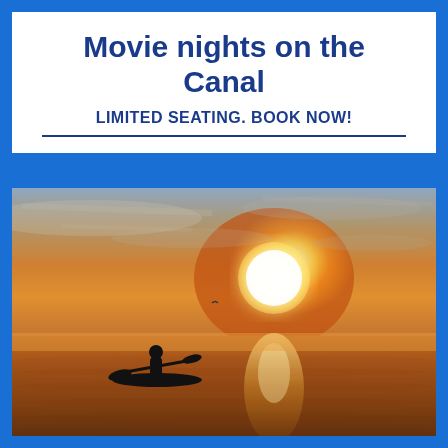Movie nights on the Canal
LIMITED SEATING. BOOK NOW!
[Figure (photo): A silhouette of a person kayaking on calm water during a golden sunset, with the bright sun reflecting on the water surface and a hazy sky above.]